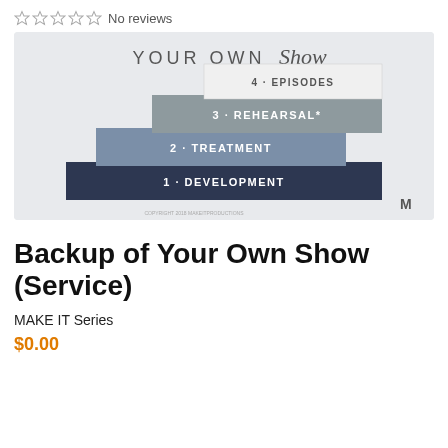☆☆☆☆☆ No reviews
[Figure (infographic): A staircase diagram titled 'YOUR OWN Show' with four ascending steps labeled: 1 - DEVELOPMENT (dark navy), 2 - TREATMENT (medium blue-grey), 3 - REHEARSAL* (grey), 4 - EPISODES (light grey/white). A logo 'M' appears in the bottom right corner.]
Backup of Your Own Show (Service)
MAKE IT Series
$0.00